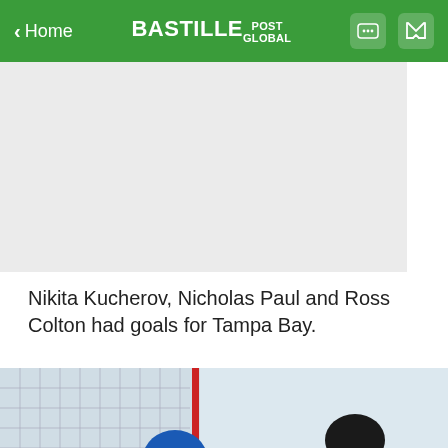< Home | BASTILLE POST GLOBAL
[Figure (other): Advertisement banner placeholder (gray rectangle)]
Nikita Kucherov, Nicholas Paul and Ross Colton had goals for Tampa Bay.
[Figure (photo): Ice hockey action photo: Tampa Bay Lightning goalie (white uniform, #88) making a save against a Washington Capitals player (#8, red uniform) near the net.]